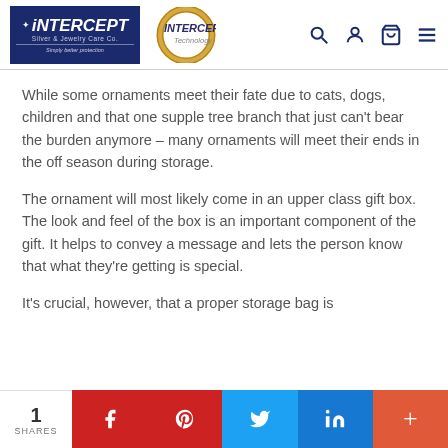[Figure (logo): Intercept Silver & Jewelry Care Co. logo (dark blue background with white italic text) and Intercept Technology circular logo, with navigation icons (search, user, cart, menu)]
While some ornaments meet their fate due to cats, dogs, children and that one supple tree branch that just can’t bear the burden anymore – many ornaments will meet their ends in the off season during storage.
The ornament will most likely come in an upper class gift box. The look and feel of the box is an important component of the gift. It helps to convey a message and lets the person know that what they’re getting is special.
It’s crucial, however, that a proper storage bag is
1 SHARES | Facebook | Pinterest | Twitter | LinkedIn | More